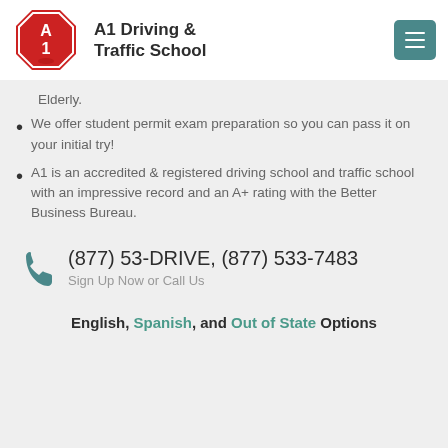A1 Driving & Traffic School
Elderly.
We offer student permit exam preparation so you can pass it on your initial try!
A1 is an accredited & registered driving school and traffic school with an impressive record and an A+ rating with the Better Business Bureau.
(877) 53-DRIVE, (877) 533-7483
Sign Up Now or Call Us
English, Spanish, and Out of State Options